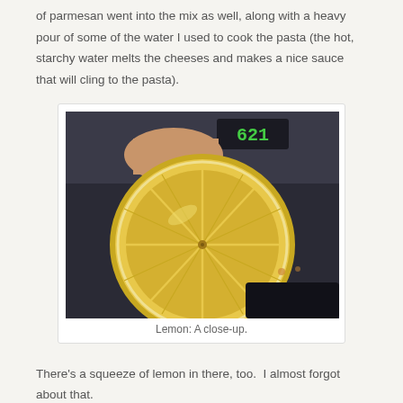of parmesan went into the mix as well, along with a heavy pour of some of the water I used to cook the pasta (the hot, starchy water melts the cheeses and makes a nice sauce that will cling to the pasta).
[Figure (photo): Close-up photograph of a halved lemon held by fingers, showing the cross-section with yellow flesh and segments, against a dark background with a green digital display showing '621' in the upper portion.]
Lemon: A close-up.
There’s a squeeze of lemon in there, too.  I almost forgot about that.